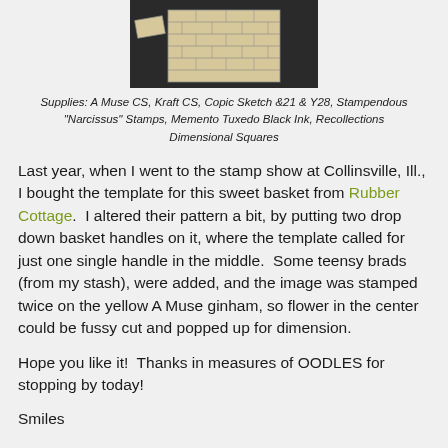[Figure (photo): Photo of a handmade basket/box with brick-pattern stamping, made from kraft cardstock, shown with a piece of cardstock next to it on a dark background.]
Supplies: A Muse CS, Kraft CS, Copic Sketch &21 & Y28, Stampendous "Narcissus" Stamps, Memento Tuxedo Black Ink, Recollections Dimensional Squares
Last year, when I went to the stamp show at Collinsville, Ill., I bought the template for this sweet basket from Rubber Cottage.  I altered their pattern a bit, by putting two drop down basket handles on it, where the template called for just one single handle in the middle.  Some teensy brads (from my stash), were added, and the image was stamped twice on the yellow A Muse ginham, so flower in the center could be fussy cut and popped up for dimension.
Hope you like it!  Thanks in measures of OODLES for stopping by today!
Smiles